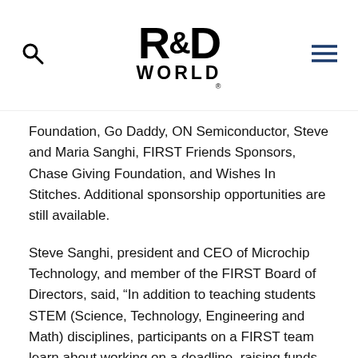R&D WORLD
Foundation, Go Daddy, ON Semiconductor, Steve and Maria Sanghi, FIRST Friends Sponsors, Chase Giving Foundation, and Wishes In Stitches. Additional sponsorship opportunities are still available.
Steve Sanghi, president and CEO of Microchip Technology, and member of the FIRST Board of Directors, said, “In addition to teaching students STEM (Science, Technology, Engineering and Math) disciplines, participants on a FIRST team learn about working on a deadline, raising funds, marketing, critical thinking and teamwork. These are the skills that we need to create a stronger and more informed workforce, to boost our economy.”
About FIRST
Accomplished inventor Dean Kamen founded FIRST (For